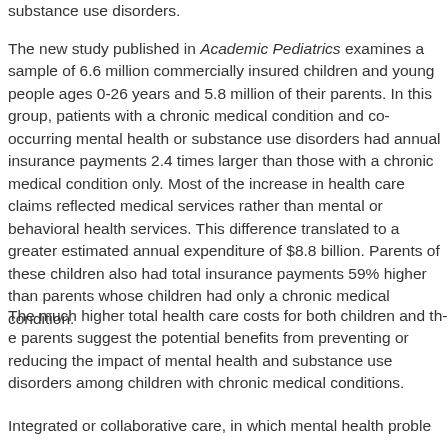substance use disorders.
The new study published in Academic Pediatrics examines a sample of 6.6 million commercially insured children and young people ages 0-26 years and 5.8 million of their parents. In this group, patients with a chronic medical condition and co-occurring mental health or substance use disorders had annual insurance payments 2.4 times larger than those with a chronic medical condition only. Most of the increase in health care claims reflected medical services rather than mental or behavioral health services. This difference translated to a greater estimated annual expenditure of $8.8 billion. Parents of these children also had total insurance payments 59% higher than parents whose children had only a chronic medical condition.
The much higher total health care costs for both children and their parents suggest the potential benefits from preventing or reducing the impact of mental health and substance use disorders among children with chronic medical conditions.
Integrated or collaborative care, in which mental health proble...